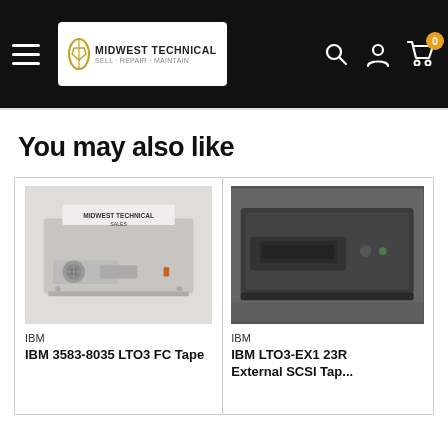MidWest Technical - navigation bar with logo, search, account, and cart icons
You may also like
[Figure (photo): IBM tape drive unit with 'MIDWEST TECHNICAL SALES' label on top, silver/grey casing with fan visible]
IBM
IBM 3583-8035 LTO3 FC Tape
[Figure (photo): IBM LTO3-EX1 external SCSI tape drive, dark/black casing, partially visible]
IBM
IBM LTO3-EX1 23R External SCSI Tap...